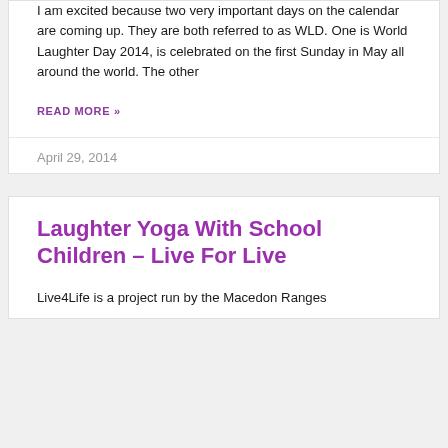I am excited because two very important days on the calendar are coming up. They are both referred to as WLD. One is World Laughter Day 2014, is celebrated on the first Sunday in May all around the world. The other
READ MORE »
April 29, 2014
Laughter Yoga With School Children – Live For Live
Live4Life is a project run by the Macedon Ranges